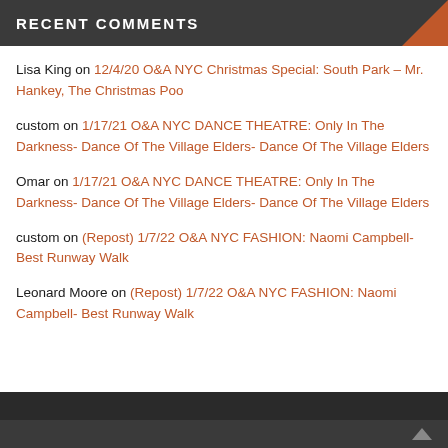RECENT COMMENTS
Lisa King on 12/4/20 O&A NYC Christmas Special: South Park – Mr. Hankey, The Christmas Poo
custom on 1/17/21 O&A NYC DANCE THEATRE: Only In The Darkness- Dance Of The Village Elders- Dance Of The Village Elders
Omar on 1/17/21 O&A NYC DANCE THEATRE: Only In The Darkness- Dance Of The Village Elders- Dance Of The Village Elders
custom on (Repost) 1/7/22 O&A NYC FASHION: Naomi Campbell- Best Runway Walk
Leonard Moore on (Repost) 1/7/22 O&A NYC FASHION: Naomi Campbell- Best Runway Walk